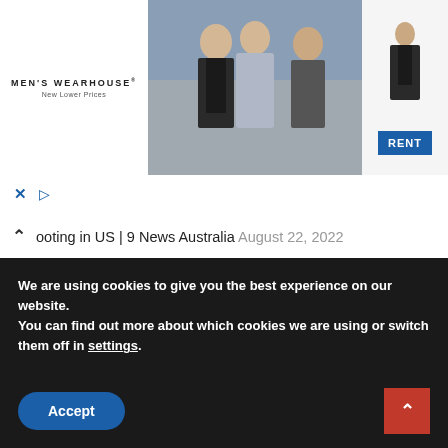[Figure (screenshot): Men's Wearhouse advertisement banner showing a couple in formal wear and a man in a suit, with 'RENT' button]
× ▶
∧ ooting in US | 9 News Australia August 22, 2022
The report that Putin hid from the Russian army has emerged! Army angry RUSSIA–UKRAINE WAR NEWS August 22, 2022
Watch Oprah's conversation with the bestselling author about his new book August
We are using cookies to give you the best experience on our website.
You can find out more about which cookies we are using or switch them off in settings.
Accept